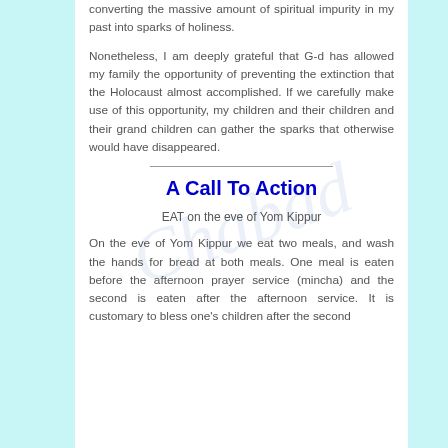converting the massive amount of spiritual impurity in my past into sparks of holiness.
Nonetheless, I am deeply grateful that G-d has allowed my family the opportunity of preventing the extinction that the Holocaust almost accomplished. If we carefully make use of this opportunity, my children and their children and their grand children can gather the sparks that otherwise would have disappeared.
A Call To Action
EAT on the eve of Yom Kippur
On the eve of Yom Kippur we eat two meals, and wash the hands for bread at both meals. One meal is eaten before the afternoon prayer service (mincha) and the second is eaten after the afternoon service. It is customary to bless one's children after the second